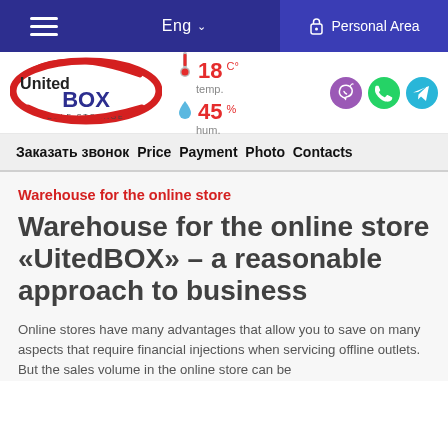≡  Eng ∨  Personal Area
[Figure (logo): United BOX Self Storage logo — red ellipse with white 'United BOX SELF STORAGE' text]
18 C° temp.  45 % hum.
Заказать звонок Price Payment Photo Contacts
Warehouse for the online store
Warehouse for the online store «UitedBOX» – a reasonable approach to business
Online stores have many advantages that allow you to save on many aspects that require financial injections when servicing offline outlets. But the sales volume in the online store can be